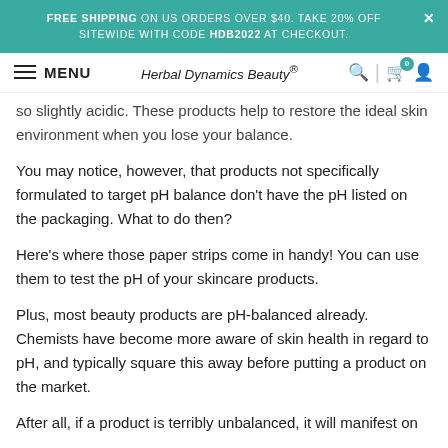FREE SHIPPING ON US ORDERS OVER $40. TAKE 20% OFF SITEWIDE WITH CODE HDB2022 AT CHECKOUT.
MENU | Herbal Dynamics Beauty® | [search] [cart 0] [account]
so slightly acidic. These products help to restore the ideal skin environment when you lose your balance.
You may notice, however, that products not specifically formulated to target pH balance don't have the pH listed on the packaging. What to do then?
Here's where those paper strips come in handy! You can use them to test the pH of your skincare products.
Plus, most beauty products are pH-balanced already. Chemists have become more aware of skin health in regard to pH, and typically square this away before putting a product on the market.
After all, if a product is terribly unbalanced, it will manifest on